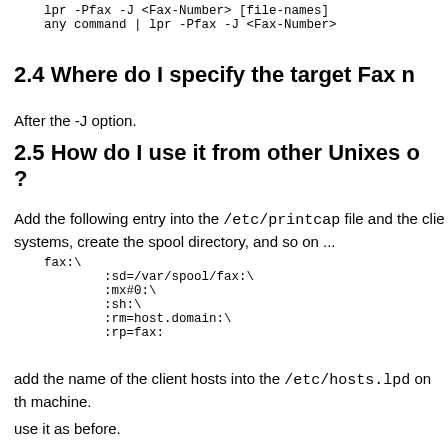lpr -Pfax -J <Fax-Number> [file-names]
    any command | lpr -Pfax -J <Fax-Number>
2.4 Where do I specify the target Fax n
After the -J option.
2.5 How do I use it from other Unixes o?
Add the following entry into the /etc/printcap file and the clie systems, create the spool directory, and so on ...
fax:\
        :sd=/var/spool/fax:\
        :mx#0:\
        :sh:\
        :rm=host.domain:\
        :rp=fax:
add the name of the client hosts into the /etc/hosts.lpd on th machine.
use it as before.